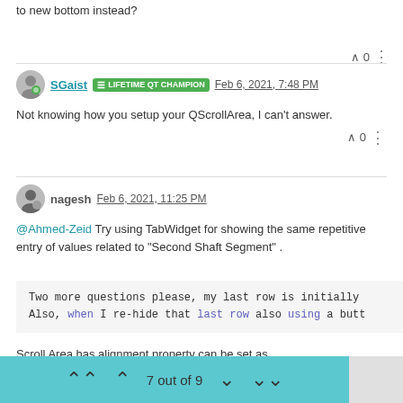to new bottom instead?
∧ 0 ⋮
SGaist  LIFETIME QT CHAMPION  Feb 6, 2021, 7:48 PM
Not knowing how you setup your QScrollArea, I can't answer.
∧ 0 ⋮
nagesh  Feb 6, 2021, 11:25 PM
@Ahmed-Zeid Try using TabWidget for showing the same repetitive entry of values related to "Second Shaft Segment".
Two more questions please, my last row is initially
Also, when I re-hide that last row also using a butt
Scroll Area has alignment property can be set as
7 out of 9